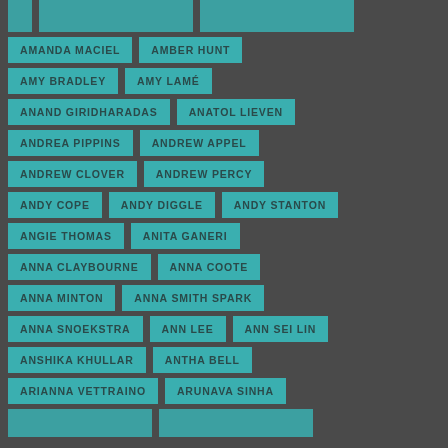AMANDA MACIEL
AMBER HUNT
AMY BRADLEY
AMY LAMÉ
ANAND GIRIDHARADAS
ANATOL LIEVEN
ANDREA PIPPINS
ANDREW APPEL
ANDREW CLOVER
ANDREW PERCY
ANDY COPE
ANDY DIGGLE
ANDY STANTON
ANGIE THOMAS
ANITA GANERI
ANNA CLAYBOURNE
ANNA COOTE
ANNA MINTON
ANNA SMITH SPARK
ANNA SNOEKSTRA
ANN LEE
ANN SEI LIN
ANSHIKA KHULLAR
ANTHA BELL
ARIANNA VETTRAINO
ARUNAVA SINHA